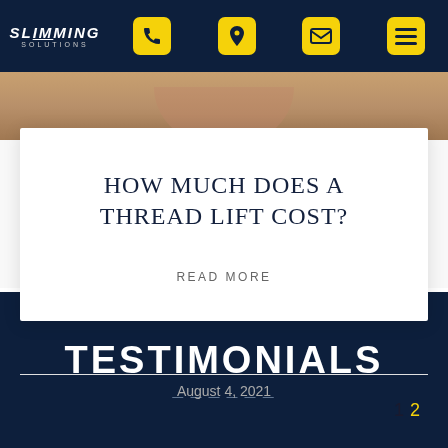SLIMMING SOLUTIONS — Navigation bar with phone, location, email, menu icons
[Figure (photo): Close-up of a person's lower face/chin area, cropped]
HOW MUCH DOES A THREAD LIFT COST?
READ MORE
August 4, 2021
1  2
TESTIMONIALS